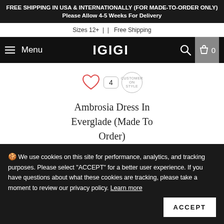FREE SHIPPING IN USA & INTERNATIONALLY (FOR MADE-TO-ORDER ONLY) Please Allow 4-5 Weeks For Delivery
Sizes 12+ | | Free Shipping
Menu  IGIGI  🔍  🛍 0
[Figure (other): Heart icon and badge with number 4, and a circular badge with text 'CUSTOMER ON STYLE']
Ambrosia Dress In Everglade (Made To Order)
$228.00
🍪 We use cookies on this site for performance, analytics, and tracking purposes. Please select "ACCEPT" for a better user experience. If you have questions about what these cookies are tracking, please take a moment to review our privacy policy. Learn more
ACCEPT